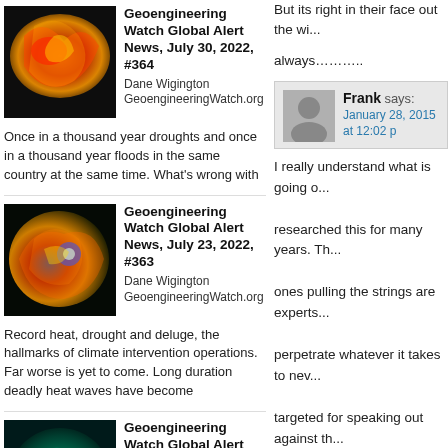[Figure (photo): Satellite or weather image with swirling orange, red, yellow flame-like patterns on dark background — thumbnail for article #364]
Geoengineering Watch Global Alert News, July 30, 2022, #364
Dane Wigington GeoengineeringWatch.org
Once in a thousand year droughts and once in a thousand year floods in the same country at the same time. What's wrong with
[Figure (photo): Satellite weather image with swirling colorful storm patterns — thumbnail for article #363]
Geoengineering Watch Global Alert News, July 23, 2022, #363
Dane Wigington GeoengineeringWatch.org
Record heat, drought and deluge, the hallmarks of climate intervention operations. Far worse is yet to come. Long duration deadly heat waves have become
[Figure (photo): Satellite weather image showing teal/cyan swirling storm system — thumbnail for article #362]
Geoengineering Watch Global Alert News, July 16, 2022, #362
Dane Wigington GeoengineeringWatch.org
The United Nations website posted an essay that discussed "The Benefits of World Hunger", is the truth about the UN
But its right in their face out the wi... always………..
Frank says:
January 28, 2015 at 12:02 p
I really understand what is going o... researched this for many years. Th... ones pulling the strings are experts... perpetrate whatever it takes to nev... targeted for speaking out against th... be damn sure your ass is covered... history. I thank individuals like Dan... monumental time for our planet as... what matters is it's way past to spe... history.